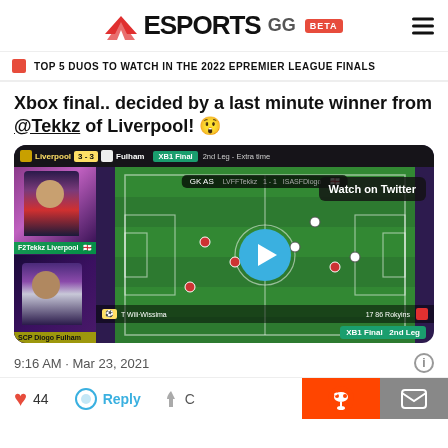ESPORTS GG BETA
TOP 5 DUOS TO WATCH IN THE 2022 EPREMIER LEAGUE FINALS
Xbox final.. decided by a last minute winner from @Tekkz of Liverpool! 😲
[Figure (screenshot): Video thumbnail of FIFA ePremier League XB1 Final 2nd Leg Extra Time. Shows Liverpool vs Fulham 3-3, with F2Tekkz Liverpool player webcam top-left and SCP Diogo Fulham player webcam bottom-left. Main view shows football pitch with Play button overlay and Watch on Twitter label. Score HUD shows 1-1.]
9:16 AM · Mar 23, 2021
44   Reply   C...